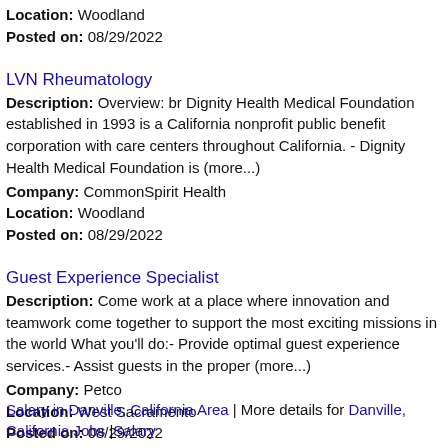Location: Woodland
Posted on: 08/29/2022
LVN Rheumatology
Description: Overview: br Dignity Health Medical Foundation established in 1993 is a California nonprofit public benefit corporation with care centers throughout California. - Dignity Health Medical Foundation is (more...)
Company: CommonSpirit Health
Location: Woodland
Posted on: 08/29/2022
Guest Experience Specialist
Description: Come work at a place where innovation and teamwork come together to support the most exciting missions in the world What you'll do:- Provide optimal guest experience services.- Assist guests in the proper (more...)
Company: Petco
Location: West Sacramento
Posted on: 08/29/2022
Salary in Danville, California Area | More details for Danville, California Jobs |Salary